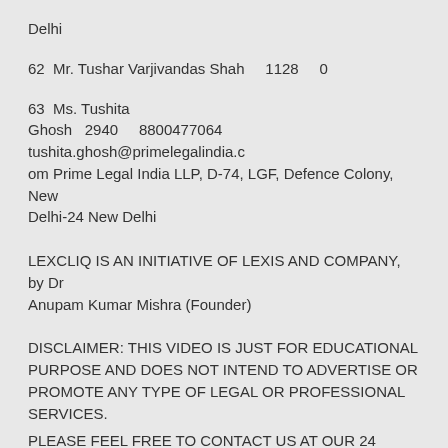Delhi
62  Mr. Tushar Varjivandas Shah    1128    0
63  Ms. Tushita
Ghosh  2940    8800477064    tushita.ghosh@primelegalindia.com Prime Legal India LLP, D-74, LGF, Defence Colony, New Delhi-24 New Delhi
LEXCLIQ IS AN INITIATIVE OF LEXIS AND COMPANY, by Dr Anupam Kumar Mishra (Founder)
DISCLAIMER: THIS VIDEO IS JUST FOR EDUCATIONAL PURPOSE AND DOES NOT INTEND TO ADVERTISE OR PROMOTE ANY TYPE OF LEGAL OR PROFESSIONAL SERVICES.
PLEASE FEEL FREE TO CONTACT US AT OUR 24 HOURS